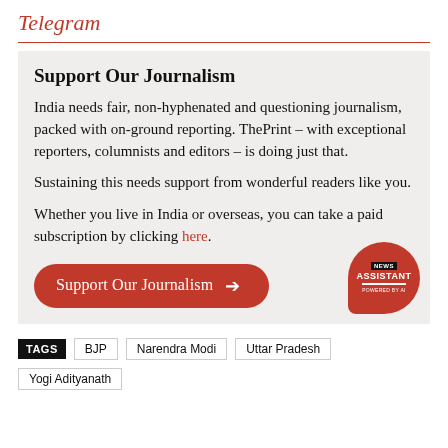Telegram
Support Our Journalism
India needs fair, non-hyphenated and questioning journalism, packed with on-ground reporting. ThePrint – with exceptional reporters, columnists and editors – is doing just that.
Sustaining this needs support from wonderful readers like you.
Whether you live in India or overseas, you can take a paid subscription by clicking here.
Support Our Journalism →
TAGS   BJP   Narendra Modi   Uttar Pradesh   Yogi Adityanath